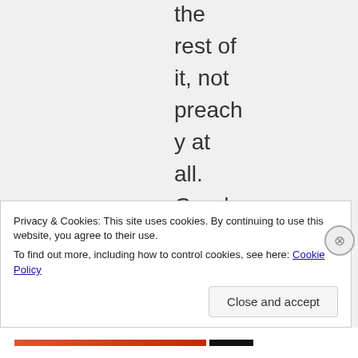the rest of it, not preachy at all. Good stuff. You will know
Privacy & Cookies: This site uses cookies. By continuing to use this website, you agree to their use.
To find out more, including how to control cookies, see here: Cookie Policy
Close and accept